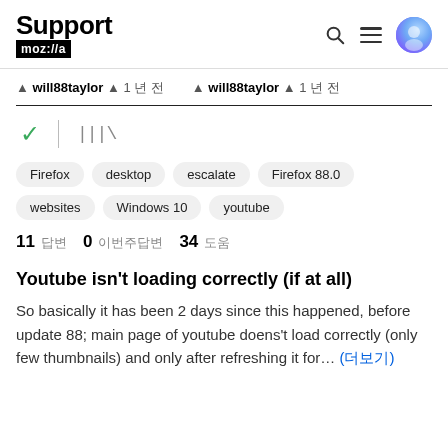Support mozilla//a
↑ will88taylor ↑ 1 년 전   ↑ will88taylor ↑ 1 년 전
✓  |  |||\
Firefox  desktop  escalate  Firefox 88.0  websites  Windows 10  youtube
11 답변  0 이번주답변  34 도움
Youtube isn't loading correctly (if at all)
So basically it has been 2 days since this happened, before update 88; main page of youtube doens't load correctly (only few thumbnails) and only after refreshing it for… (더보기)